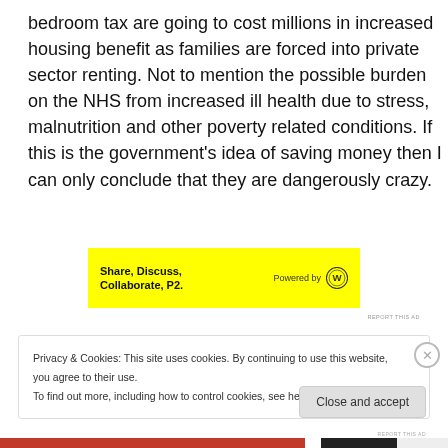bedroom tax are going to cost millions in increased housing benefit as families are forced into private sector renting. Not to mention the possible burden on the NHS from increased ill health due to stress, malnutrition and other poverty related conditions. If this is the government's idea of saving money then I can only conclude that they are dangerously crazy.
[Figure (other): Yellow advertisement banner reading 'Share, Discuss, Collaborate, P2.' with WordPress 'Powered by' logo on the right]
Privacy & Cookies: This site uses cookies. By continuing to use this website, you agree to their use.
To find out more, including how to control cookies, see here: Cookie Policy